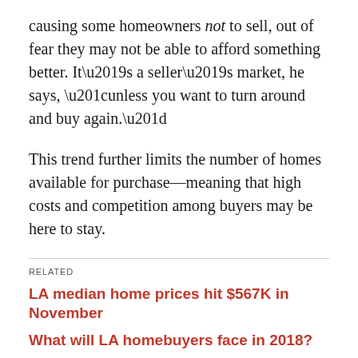causing some homeowners not to sell, out of fear they may not be able to afford something better. It’s a seller’s market, he says, “unless you want to turn around and buy again.”
This trend further limits the number of homes available for purchase—meaning that high costs and competition among buyers may be here to stay.
RELATED
LA median home prices hit $567K in November
What will LA homebuyers face in 2018?
Report: 15% of LA residents are house hunting in other cities